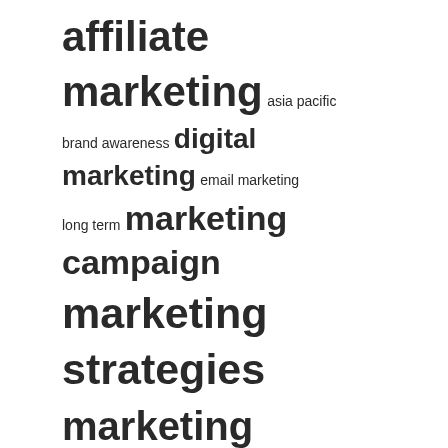[Figure (infographic): Tag cloud with terms of varying sizes related to marketing: affiliate marketing (very large), asia pacific (small), brand awareness (small), digital marketing (large), email marketing (small), long term (small), marketing campaign (large), marketing strategies (very large), marketing strategy (very large), market report (small), market research (small), north america (small), products services (large), target audience (medium), united states (large)]
RECENT POSTS
Marketing strategies in telecommunications: explained
The Real Truth About Payday Loans and Secure Credit
HOLY COW! ANNOUNCES A MARKETING CAMPAIGN